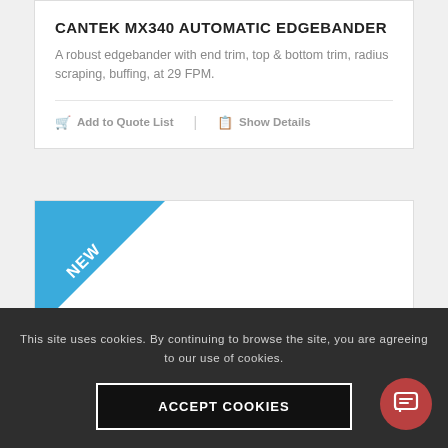CANTEK MX340 AUTOMATIC EDGEBANDER
A robust edgebander with end trim, top & bottom trim, radius scraping, buffing, at 29 FPM.
Add to Quote List  |  Show Details
[Figure (other): Product card with a NEW ribbon banner in the top-left corner (blue diagonal ribbon reading NEW)]
This site uses cookies. By continuing to browse the site, you are agreeing to our use of cookies.
ACCEPT COOKIES